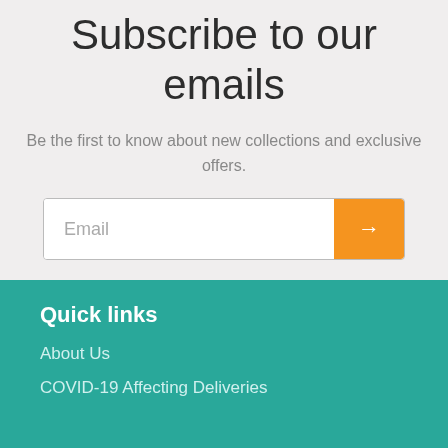Subscribe to our emails
Be the first to know about new collections and exclusive offers.
Quick links
About Us
COVID-19 Affecting Deliveries